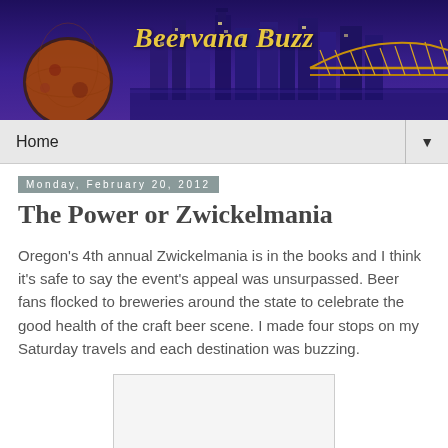[Figure (photo): Beervana Buzz website header banner showing Portland city skyline at night with purple/blue sky, city buildings, a illuminated bridge, and a decorative hop/sphere sculpture on the left. Title text 'Beervana Buzz' in gold italic font.]
Home ▼
Monday, February 20, 2012
The Power or Zwickelmania
Oregon's 4th annual Zwickelmania is in the books and I think it's safe to say the event's appeal was unsurpassed. Beer fans flocked to breweries around the state to celebrate the good health of the craft beer scene. I made four stops on my Saturday travels and each destination was buzzing.
[Figure (photo): Partial image/photo placeholder, bottom is cut off by page boundary]